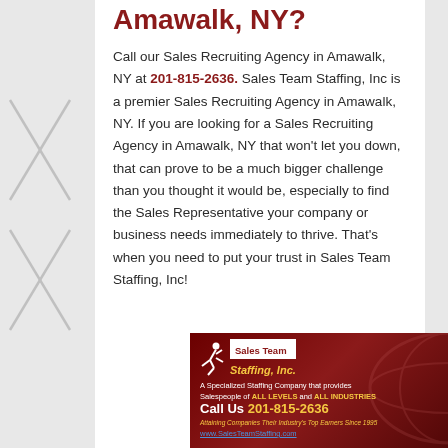Amawalk, NY?
Call our Sales Recruiting Agency in Amawalk, NY at 201-815-2636. Sales Team Staffing, Inc is a premier Sales Recruiting Agency in Amawalk, NY. If you are looking for a Sales Recruiting Agency in Amawalk, NY that won't let you down, that can prove to be a much bigger challenge than you thought it would be, especially to find the Sales Representative your company or business needs immediately to thrive. That's when you need to put your trust in Sales Team Staffing, Inc!
[Figure (advertisement): Sales Team Staffing, Inc. advertisement banner with logo, runner icon, tagline, phone number 201-815-2636, and a person in a suit holding a binder. Red background with gold and white text.]